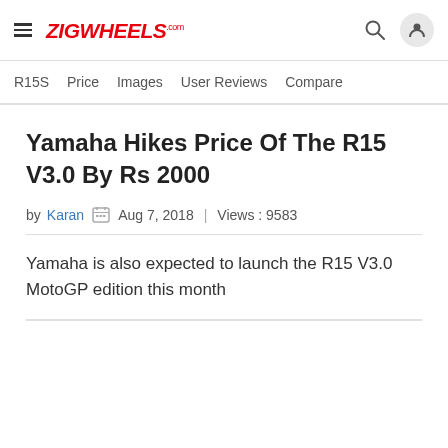ZIGWHEELS.com
R15S  Price  Images  User Reviews  Compare
Yamaha Hikes Price Of The R15 V3.0 By Rs 2000
by Karan  Aug 7, 2018  |  Views : 9583
Yamaha is also expected to launch the R15 V3.0 MotoGP edition this month